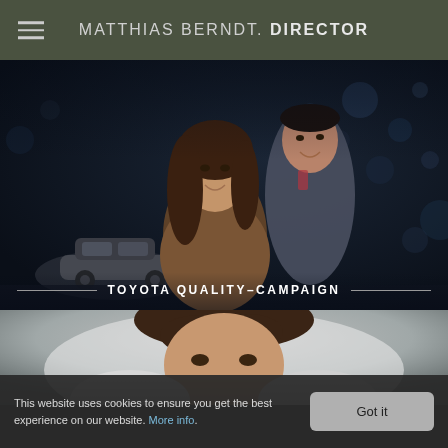MATTHIAS BERNDT. DIRECTOR
[Figure (photo): A smiling couple in a dark showroom setting with a car visible in the background. The woman has long brown hair and wears a brown jacket; the man is behind her wearing a suit.]
TOYOTA QUALITY-CAMPAIGN
[Figure (photo): Close-up of a woman with brown hair pulled back, smiling, in a bright white environment.]
This website uses cookies to ensure you get the best experience on our website. More info.